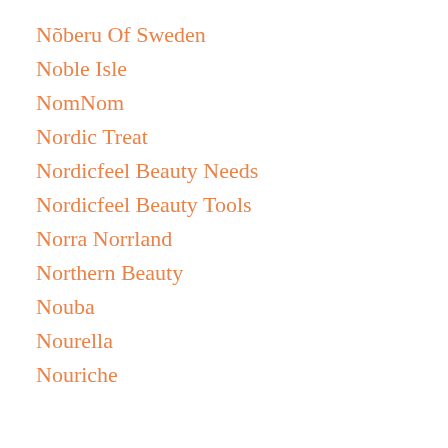Nõberu Of Sweden
Noble Isle
NomNom
Nordic Treat
Nordicfeel Beauty Needs
Nordicfeel Beauty Tools
Norra Norrland
Northern Beauty
Nouba
Nourella
Nouriche